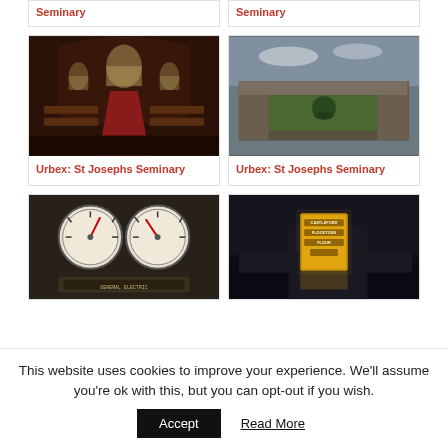Seminary
Seminary
[Figure (photo): Interior of a chapel with arched ceiling, red carpet aisle, wooden pews and stained windows — Urbex St Josephs Seminary]
Urbex: St Josephs Seminary
[Figure (photo): Aerial view of a large derelict building complex with green courtyard and overgrown grounds — Urbex St Josephs Seminary]
Urbex: St Josephs Seminary
[Figure (photo): Close-up of old industrial analog gauges and meters mounted on a rusty panel]
[Figure (photo): Night photograph of a large yellow illuminated industrial sign reading Castleford Flocktons Flour next to a waterfront building]
This website uses cookies to improve your experience. We'll assume you're ok with this, but you can opt-out if you wish.
Accept
Read More